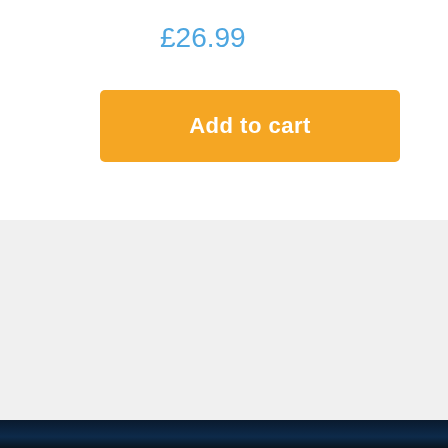£26.99
Add to cart
[Figure (infographic): Four feature icons with text: Support Independent Music (guitar icon), Instant Downloads (star/burst icon), 100% Secure Checkout (shield with checkmark icon), Shipped Direct From Artist (person carrying box icon)]
Support Independent Music
IF YOU LIKE IT – BUY IT
Instant Downloads
FREE WITH ALL MUSIC ORDERS
100% Secure Checkout
128 BIT SSL ENCRYPTION
Shipped Direct From Artist
FAST FOR YOU, BEST FOR MUSICIANS
Terms Of Service